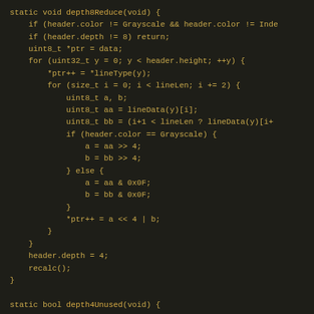[Figure (screenshot): Source code screenshot showing two C++ static functions: depth8Reduce(void) and depth4Unused(void), displayed with dark background and amber/golden monospace font.]